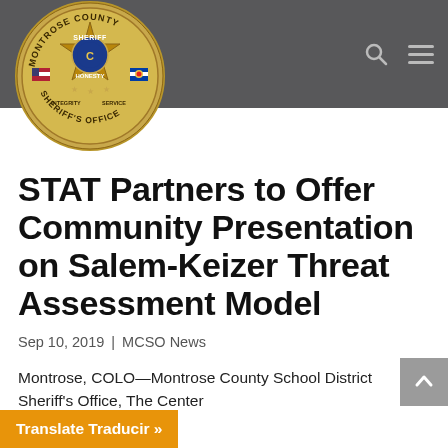[Figure (logo): Montrose County Sheriff's Office badge/seal logo — circular gold badge with sheriff star, American flag, Colorado flag, text reading MONTROSE COUNTY SHERIFF HONESTY INTEGRITY SERVICE SHERIFF'S OFFICE]
STAT Partners to Offer Community Presentation on Salem-Keizer Threat Assessment Model
Sep 10, 2019 | MCSO News
Montrose, COLO—Montrose County School District Sheriff's Office, The Center
Translate Traducir »